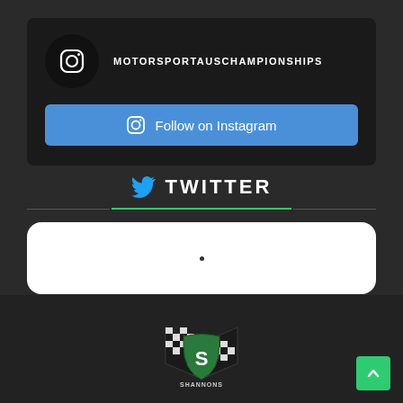[Figure (screenshot): Instagram profile widget showing motorsportauschampionships username with Instagram icon avatar and Follow on Instagram button]
TWITTER
[Figure (screenshot): Twitter feed embed box, white rounded rectangle with loading dot]
[Figure (logo): Shannons motorsport sponsor logo with checkered flags and shield]
[Figure (other): Green scroll-to-top button with upward chevron arrow in bottom right corner]